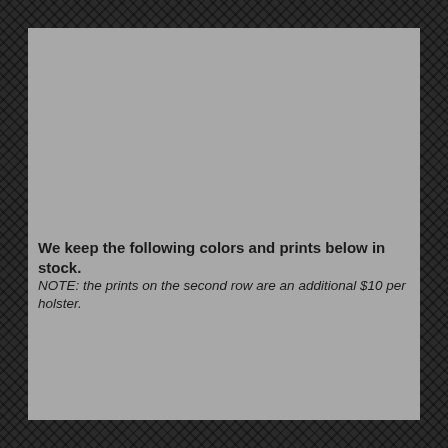We keep the following colors and prints below in stock. NOTE: the prints on the second row are an additional $10 per holster.